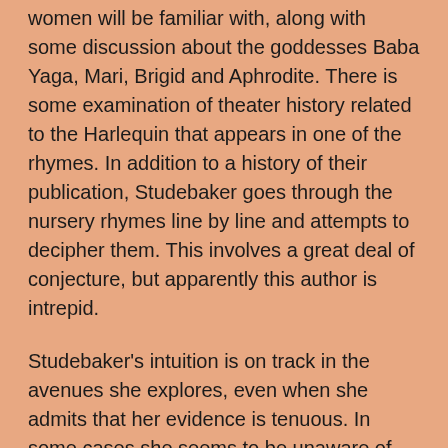women will be familiar with, along with some discussion about the goddesses Baba Yaga, Mari, Brigid and Aphrodite. There is some examination of theater history related to the Harlequin that appears in one of the rhymes. In addition to a history of their publication, Studebaker goes through the nursery rhymes line by line and attempts to decipher them. This involves a great deal of conjecture, but apparently this author is intrepid.
Studebaker's intuition is on track in the avenues she explores, even when she admits that her evidence is tenuous. In some cases she seems to be unaware of information that would bolster her arguments further. I do disagree with her argument about classic fairytales created as an underground Pagan resistance movement. If anything, I think these fairytales were created as allegories against rival Christian institutions. I was going to expound on this, but it's a rather esoteric